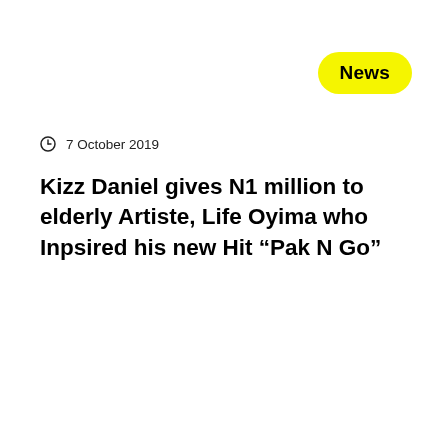News
7 October 2019
Kizz Daniel gives N1 million to elderly Artiste, Life Oyima who Inpsired his new Hit “Pak N Go”